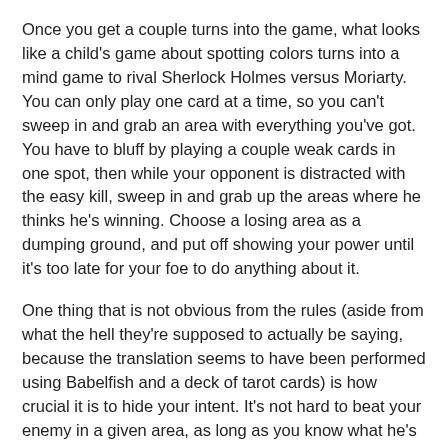Once you get a couple turns into the game, what looks like a child's game about spotting colors turns into a mind game to rival Sherlock Holmes versus Moriarty. You can only play one card at a time, so you can't sweep in and grab an area with everything you've got. You have to bluff by playing a couple weak cards in one spot, then while your opponent is distracted with the easy kill, sweep in and grab up the areas where he thinks he's winning. Choose a losing area as a dumping ground, and put off showing your power until it's too late for your foe to do anything about it.
One thing that is not obvious from the rules (aside from what the hell they're supposed to actually be saying, because the translation seems to have been performed using Babelfish and a deck of tarot cards) is how crucial it is to hide your intent. It's not hard to beat your enemy in a given area, as long as you know what he's already got there. Commit early, and you either tell him where he's safe, or you telegraph your hits so he knows to save his good cards for another location. You'll be feinting and counterattacking and gambling on the draw. It's enough to make your head swim and your heart